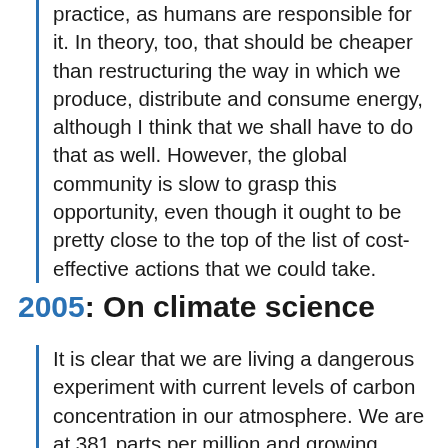practice, as humans are responsible for it. In theory, too, that should be cheaper than restructuring the way in which we produce, distribute and consume energy, although I think that we shall have to do that as well. However, the global community is slow to grasp this opportunity, even though it ought to be pretty close to the top of the list of cost-effective actions that we could take.
2005: On climate science
It is clear that we are living a dangerous experiment with current levels of carbon concentration in our atmosphere. We are at 381 parts per million and growing, according to Sir David King, at 2 parts per